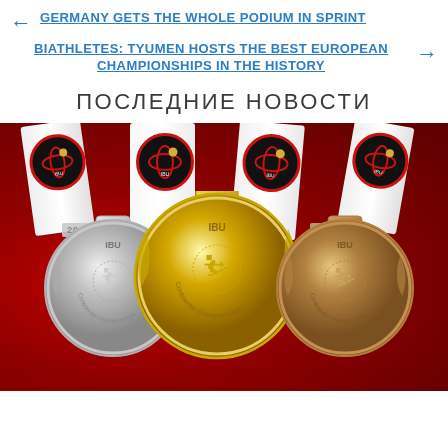← GERMANY GETS THE WHOLE PODIUM IN SPRINT
BIATHLETES: TYUMEN HOSTS THE BEST EUROPEAN CHAMPIONSHIPS IN THE HISTORY →
ПОСЛЕДНИЕ НОВОСТИ
[Figure (photo): Three IBU Continental Championships medals (silver, gold, bronze) from 2016 displayed on a red background with white IBU branded ribbons behind them. Each medal shows a biathlete silhouette surrounded by laurel wreath with 'Continental Championships' text.]